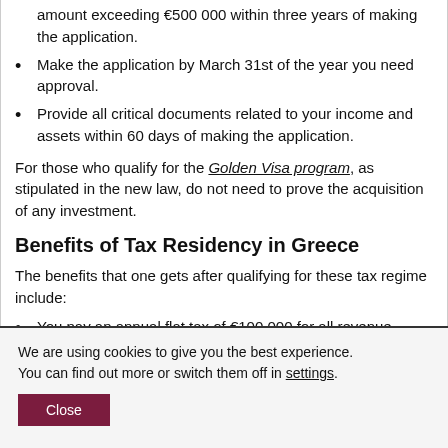amount exceeding €500 000 within three years of making the application.
Make the application by March 31st of the year you need approval.
Provide all critical documents related to your income and assets within 60 days of making the application.
For those who qualify for the Golden Visa program, as stipulated in the new law, do not need to prove the acquisition of any investment.
Benefits of Tax Residency in Greece
The benefits that one gets after qualifying for these tax regime include:
You pay an annual flat tax of €100 000 for all revenue
We are using cookies to give you the best experience. You can find out more or switch them off in settings.